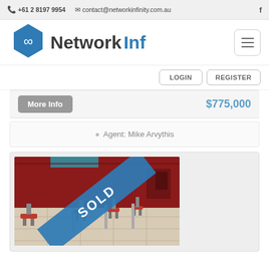+61 2 8197 9954   contact@networkinfinity.com.au
[Figure (logo): Network Infinity logo with hexagon infinity symbol]
LOGIN   REGISTER
More Info   $775,000
Agent: Mike Arvythis
[Figure (photo): Interior of a restaurant/cafe with red bar stools and high tables, tiled floor, with a SOLD diagonal banner overlay]